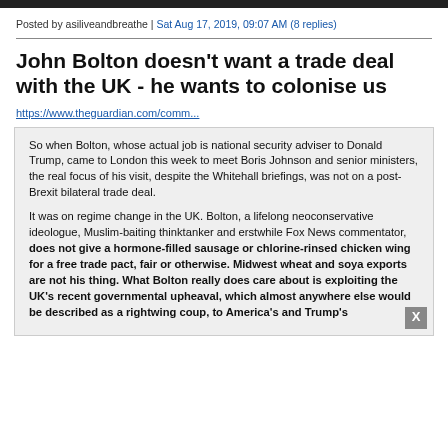Posted by asiliveandbreathe | Sat Aug 17, 2019, 09:07 AM (8 replies)
John Bolton doesn't want a trade deal with the UK - he wants to colonise us
https://www.theguardian.com/comm...
So when Bolton, whose actual job is national security adviser to Donald Trump, came to London this week to meet Boris Johnson and senior ministers, the real focus of his visit, despite the Whitehall briefings, was not on a post-Brexit bilateral trade deal.

It was on regime change in the UK. Bolton, a lifelong neoconservative ideologue, Muslim-baiting thinktanker and erstwhile Fox News commentator, does not give a hormone-filled sausage or chlorine-rinsed chicken wing for a free trade pact, fair or otherwise. Midwest wheat and soya exports are not his thing. What Bolton really does care about is exploiting the UK's recent governmental upheaval, which almost anywhere else would be described as a rightwing coup, to America's and Trump's